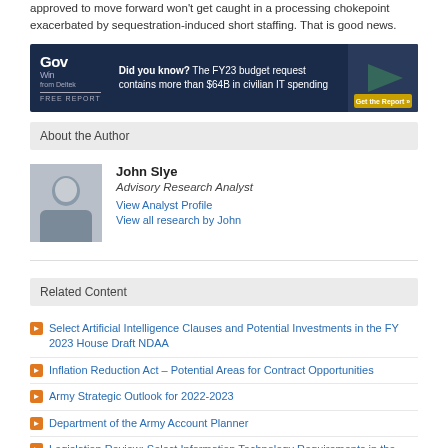approved to move forward won't get caught in a processing chokepoint exacerbated by sequestration-induced short staffing. That is good news.
[Figure (screenshot): GovWin from Deltek FREE REPORT advertisement banner. Text reads: Did you know? The FY23 budget request contains more than $64B in civilian IT spending. Get the Report button on right.]
About the Author
[Figure (photo): Headshot photo of John Slye, Advisory Research Analyst]
John Slye
Advisory Research Analyst
View Analyst Profile
View all research by John
Related Content
Select Artificial Intelligence Clauses and Potential Investments in the FY 2023 House Draft NDAA
Inflation Reduction Act – Potential Areas for Contract Opportunities
Army Strategic Outlook for 2022-2023
Department of the Army Account Planner
Legislation Review: Select Information Technology Requirements in the Inflation Reduction Act
View all related content